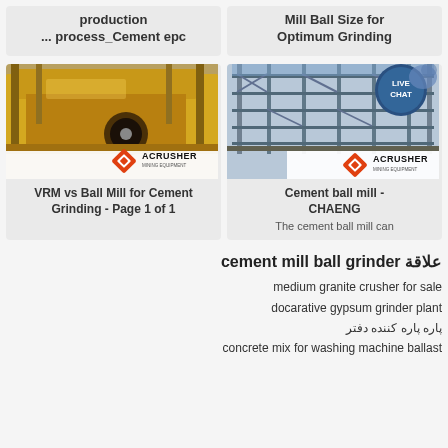production ... process_Cement epc
Mill Ball Size for Optimum Grinding
[Figure (photo): Yellow industrial crusher/mill machine (VRM vs Ball Mill for Cement Grinding) with ACRUSHER mining equipment logo]
VRM vs Ball Mill for Cement Grinding - Page 1 of 1
[Figure (photo): Steel structure construction frame for cement ball mill with ACRUSHER mining equipment logo and LIVE CHAT bubble]
Cement ball mill - CHAENG
The cement ball mill can
علاقة cement mill ball grinder
medium granite crusher for sale
docarative gypsum grinder plant
پاره پاره کننده دفتر
concrete mix for washing machine ballast